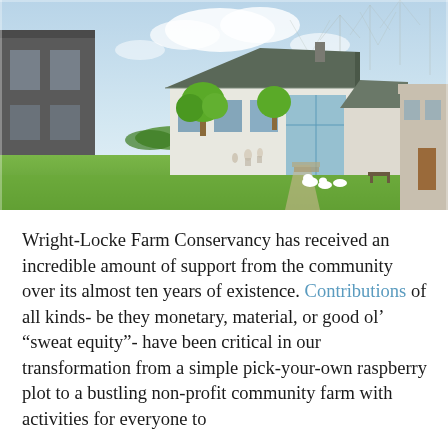[Figure (illustration): Architectural watercolor sketch illustration of Wright-Locke Farm Conservancy showing a large white barn/farmhouse building with green trees, expansive lawn with people walking, geese in foreground, and adjacent buildings on either side. Sky with clouds and pencil-sketch trees in background.]
Wright-Locke Farm Conservancy has received an incredible amount of support from the community over its almost ten years of existence. Contributions of all kinds- be they monetary, material, or good olΓÇÖ ΓÇ£sweat equityΓÇ¥- have been critical in our transformation from a simple pick-your-own raspberry plot to a bustling non-profit community farm with activities for everyone to